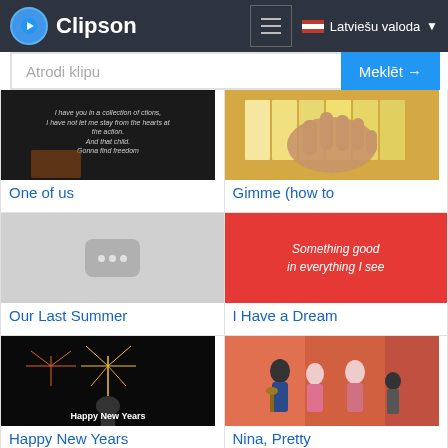Clipson — Latviešu valoda
Atrodi klipu | Meklēt →
[Figure (screenshot): Thumbnail for 'One of us' video showing text lyrics on dark background]
One of us
[Figure (screenshot): Thumbnail for 'Gimme (how to)' video showing a hand on piano keys]
Gimme (how to
[Figure (screenshot): Placeholder thumbnail with three dots]
Our Last Summer
[Figure (screenshot): Red thumbnail with text 'Something good in everything I see']
I Have a Dream
[Figure (screenshot): Thumbnail for 'Happy New Years' video showing fireworks and text]
Happy New Years
[Figure (screenshot): Thumbnail for 'Nina, Pretty' showing performers on stage]
Nina, Pretty